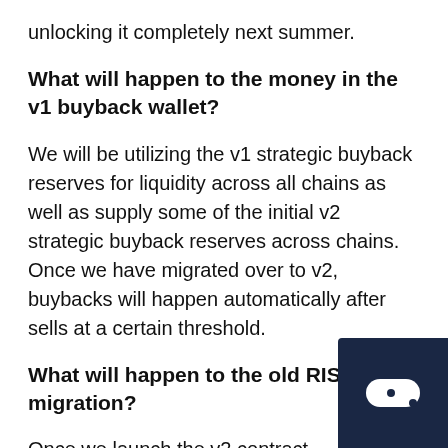unlocking it completely next summer.
What will happen to the money in the v1 buyback wallet?
We will be utilizing the v1 strategic buyback reserves for liquidity across all chains as well as supply some of the initial v2 strategic buyback reserves across chains. Once we have migrated over to v2, buybacks will happen automatically after sells at a certain threshold.
What will happen to the old RISE after migration?
Once we launch the v2 contract, trading will be stopped on the old RISE contract. According to our current timeline, a week before v2 launch we will allow RI holders to begin swapping for v2. They may cont